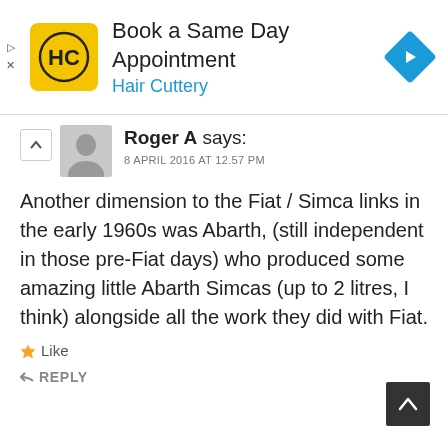[Figure (screenshot): Hair Cuttery advertisement banner: yellow logo with HC initials, text 'Book a Same Day Appointment' and 'Hair Cuttery' in blue, blue diamond arrow icon on right]
Roger A says:
8 APRIL 2016 AT 12.57 PM
Another dimension to the Fiat / Simca links in the early 1960s was Abarth, (still independent in those pre-Fiat days) who produced some amazing little Abarth Simcas (up to 2 litres, I think) alongside all the work they did with Fiat.
Like
REPLY